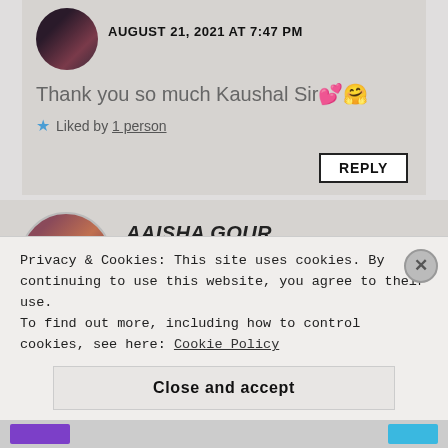AUGUST 21, 2021 AT 7:47 PM
Thank you so much Kaushal Sir💕🤗
★ Liked by 1 person
REPLY
AAISHA GOUR
AUGUST 21, 2021 AT 6:16 PM
Many many congratulations dear💕 💕 💕
Privacy & Cookies: This site uses cookies. By continuing to use this website, you agree to their use.
To find out more, including how to control cookies, see here: Cookie Policy
Close and accept